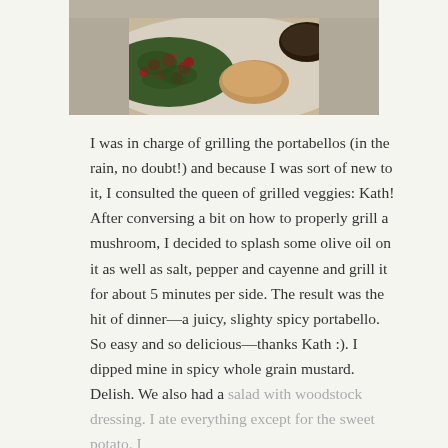[Figure (photo): A plate of food including dark leafy greens with kidney beans, a baked potato, a dark grilled portabello mushroom, and what appears to be a small piece of squash or sweet potato.]
I was in charge of grilling the portabellos (in the rain, no doubt!) and because I was sort of new to it, I consulted the queen of grilled veggies: Kath! After conversing a bit on how to properly grill a mushroom, I decided to splash some olive oil on it as well as salt, pepper and cayenne and grill it for about 5 minutes per side. The result was the hit of dinner—a juicy, slighty spicy portabello. So easy and so delicious—thanks Kath :). I dipped mine in spicy whole grain mustard. Delish. We also had a salad with woodstock dressing. I ate everything except for the sweet potato. I